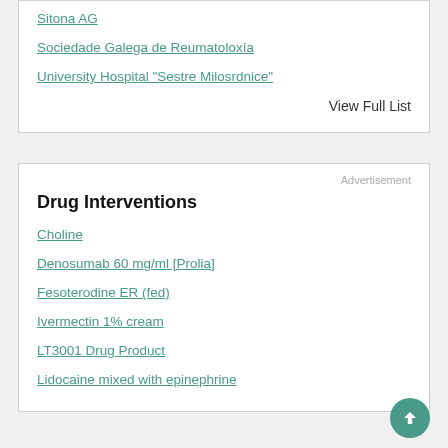Sitona AG
Sociedade Galega de Reumatoloxía
University Hospital "Sestre Milosrdnice"
View Full List
Advertisement
Drug Interventions
Choline
Denosumab 60 mg/ml [Prolia]
Fesoterodine ER (fed)
Ivermectin 1% cream
LT3001 Drug Product
Lidocaine mixed with epinephrine